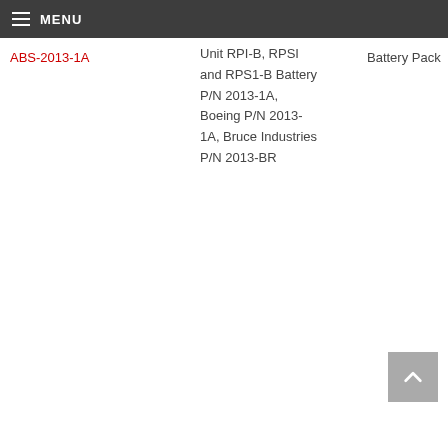MENU
ABS-2013-1A
Unit RPI-B, RPSI and RPS1-B Battery P/N 2013-1A, Boeing P/N 2013-1A, Bruce Industries P/N 2013-BR
Battery Pack